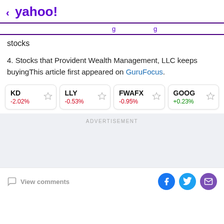< yahoo!
stocks
4. Stocks that Provident Wealth Management, LLC keeps buyingThis article first appeared on GuruFocus.
| Ticker | Change |
| --- | --- |
| KD | -2.02% |
| LLY | -0.53% |
| FWAFX | -0.95% |
| GOOG | +0.23% |
ADVERTISEMENT
View comments